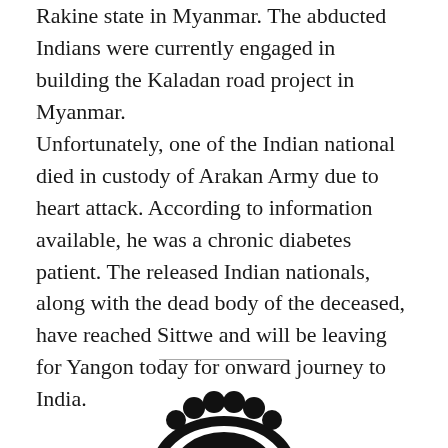Rakine state in Myanmar. The abducted Indians were currently engaged in building the Kaladan road project in Myanmar.
Unfortunately, one of the Indian national died in custody of Arakan Army due to heart attack. According to information available, he was a chronic diabetes patient. The released Indian nationals, along with the dead body of the deceased, have reached Sittwe and will be leaving for Yangon today for onward journey to India.
[Figure (logo): Partial logo or emblem visible at the bottom of the page, black graphic element]